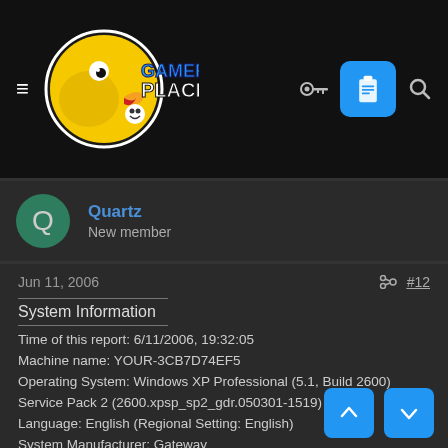[Figure (logo): Gamerz Place website header with duck mascot logo, hamburger menu, key icon, clipboard button, and search icon on black background]
Quartz
New member
Jun 11, 2006
#12
----------------
System Information
----------------
Time of this report: 6/11/2006, 19:32:05
Machine name: YOUR-3CB7D74EF5
Operating System: Windows XP Professional (5.1, Build 2600)
Service Pack 2 (2600.xpsp_sp2_gdr.050301-1519)
Language: English (Regional Setting: English)
System Manufacturer: Gateway
System Model: T6524
BIOS: Phoenix - Award BIOS v6.00PG